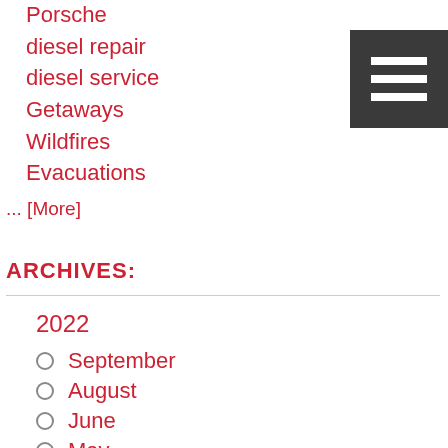Porsche
diesel repair
diesel service
Getaways
Wildfires
Evacuations
... [More]
ARCHIVES:
2022
September
August
June
May
April